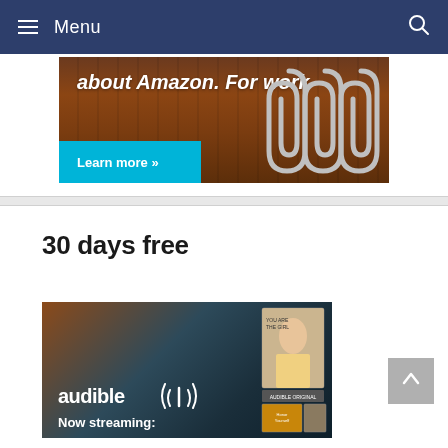≡ Menu
[Figure (screenshot): Amazon for Work advertisement banner showing wood background with text 'about Amazon. For work' and a cyan 'Learn more »' button, with paper clips visible on the right side]
30 days free
[Figure (screenshot): Audible advertisement banner with dark teal/brown gradient background showing 'audible' logo with antenna icon and text 'Now streaming:' at the bottom, with book cover thumbnails on the right side]